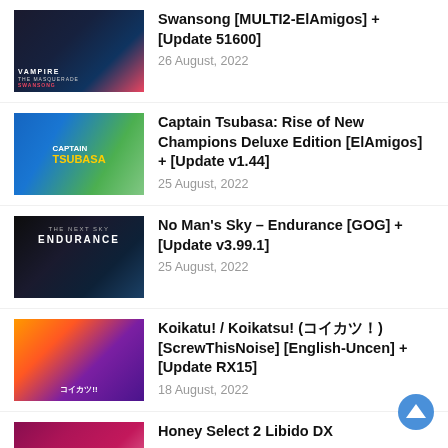Swansong [MULTI2-ElAmigos] + [Update 51600] — 26 August, 2022
Captain Tsubasa: Rise of New Champions Deluxe Edition [ElAmigos] + [Update v1.44] — 25 August, 2022
No Man's Sky – Endurance [GOG] + [Update v3.99.1] — 25 August, 2022
Koikatu! / Koikatsu! (コイカツ!) [ScrewThisNoise] [English-Uncen] + [Update RX15] — 18 August, 2022
Honey Select 2 Libido DX